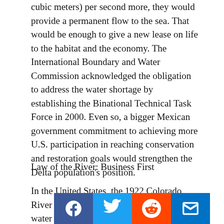cubic meters) per second more, they would provide a permanent flow to the sea. That would be enough to give a new lease on life to the habitat and the economy. The International Boundary and Water Commission acknowledged the obligation to address the water shortage by establishing the Binational Technical Task Force in 2000. Even so, a bigger Mexican government commitment to achieving more U.S. participation in reaching conservation and restoration goals would strengthen the Delta population's position.
Law of the River: Business First
In the United States, the 1922 Colorado River Compact allocated 90% of the river water to Imperial and Coachella valley agriculture, as well as other lands in seven states north of the border. The 1944 Water Treaty between the United States and Mexico assigned the remaining 10% (1.5 million acre feet, or 1.85 million cubic meters, a year) to Mexico, guaranteed and